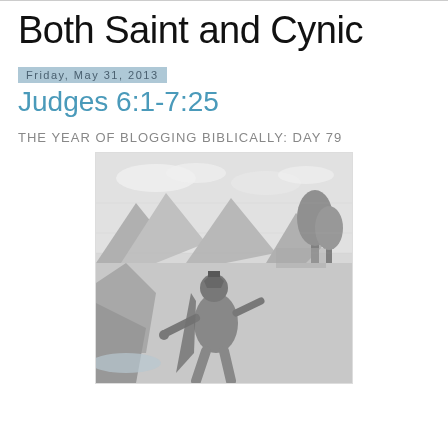Both Saint and Cynic
Judges 6:1-7:25
Friday, May 31, 2013
THE YEAR OF BLOGGING BIBLICALLY: DAY 79
[Figure (illustration): A black and white engraving depicting a warrior or biblical figure in armor with a helmet, set against a dramatic landscape with mountains, clouds, and trees in the background. The figure appears to be gesturing or in motion.]